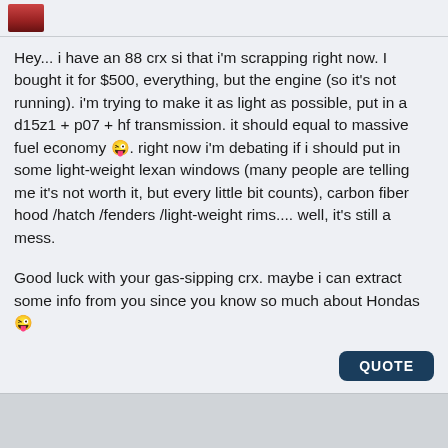Hey... i have an 88 crx si that i'm scrapping right now. I bought it for $500, everything, but the engine (so it's not running). i'm trying to make it as light as possible, put in a d15z1 + p07 + hf transmission. it should equal to massive fuel economy 😜. right now i'm debating if i should put in some light-weight lexan windows (many people are telling me it's not worth it, but every little bit counts), carbon fiber hood /hatch /fenders /light-weight rims.... well, it's still a mess.
Good luck with your gas-sipping crx. maybe i can extract some info from you since you know so much about Hondas 😜